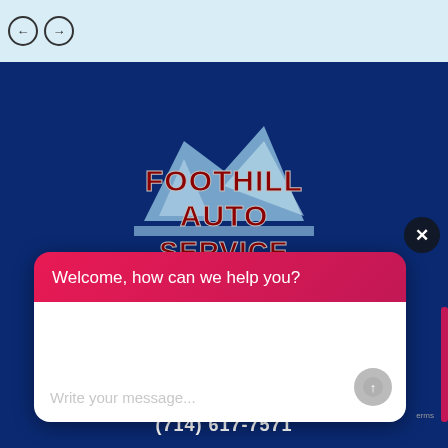[Figure (screenshot): Top navigation bar with light blue background showing left and right arrow navigation circles]
[Figure (logo): Foothill Auto Service logo: red bold text reading FOOTHILL AUTO SERVICE on a light blue house/mountain shape, set against dark navy blue background]
ADDRESS
[Figure (screenshot): Chat widget popup with pink/red header reading 'Welcome, how can we help you?' and white body with message input placeholder 'Write your message...' and a gray send button]
Welcome, how can we help you?
Write your message...
(714) 617-7571